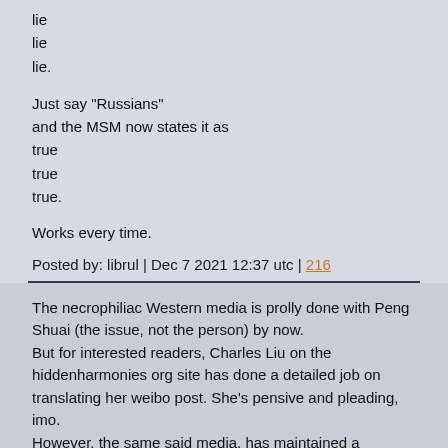lie
lie
lie.
Just say "Russians"
and the MSM now states it as
true
true
true.
Works every time.
Posted by: librul | Dec 7 2021 12:37 utc | 216
The necrophiliac Western media is prolly done with Peng Shuai (the issue, not the person) by now.
But for interested readers, Charles Liu on the hiddenharmonies org site has done a detailed job on translating her weibo post. She's pensive and pleading, imo.
However, the same said media, has maintained a graveyard-like silence over Thesis-gate, the lively scandal engulfing a certain Taiwanese leader.
It appears that there is no trace of her PhD submissions in the 1980s to a hallowed London economics institution. The uproar is percolating through chat shows of Hong Kong and Taiwan.
It matters not a whit, though, to Financial Times which names Someone among the 100 Most Influential Women.